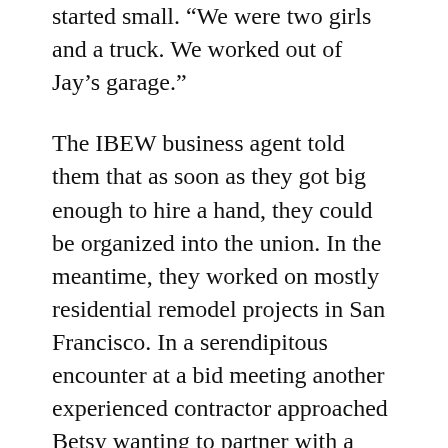started small. “We were two girls and a truck. We worked out of Jay’s garage.”
The IBEW business agent told them that as soon as they got big enough to hire a hand, they could be organized into the union. In the meantime, they worked on mostly residential remodel projects in San Francisco. In a serendipitous encounter at a bid meeting another experienced contractor approached Betsy wanting to partner with a minority contractor. It was a $250,000 job at the airport. “I said I don’t think I can bond this job. So he wrote me a check for $23,000 for that bid and after that he helped us get bonded. The hardest part of contracting is finding someone to float